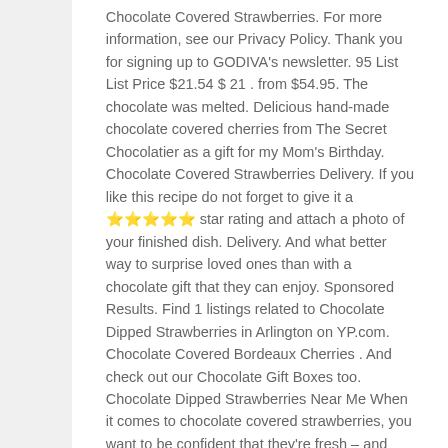Chocolate Covered Strawberries. For more information, see our Privacy Policy. Thank you for signing up to GODIVA's newsletter. 95 List List Price $21.54 $ 21 . from $54.95. The chocolate was melted. Delicious hand-made chocolate covered cherries from The Secret Chocolatier as a gift for my Mom's Birthday. Chocolate Covered Strawberries Delivery. If you like this recipe do not forget to give it a ⭐⭐⭐⭐⭐ star rating and attach a photo of your finished dish. Delivery. And what better way to surprise loved ones than with a chocolate gift that they can enjoy. Sponsored Results. Find 1 listings related to Chocolate Dipped Strawberries in Arlington on YP.com. Chocolate Covered Bordeaux Cherries . And check out our Chocolate Gift Boxes too. Chocolate Dipped Strawberries Near Me When it comes to chocolate covered strawberries, you want to be confident that they're fresh – and never frozen. At RMCF we know chocolate and offer premium gourmet assorted chocolates, Sugar Free, gourmet Caramel Apples, Toffee, Truffles, Caramels, dark chocolate, gift baskets, and much more! GODIVA Chocolate Dipped Strawberries are perfectly prepared with ripe, juicy strawberries and generously covered in the best Belgian chocolate. We use